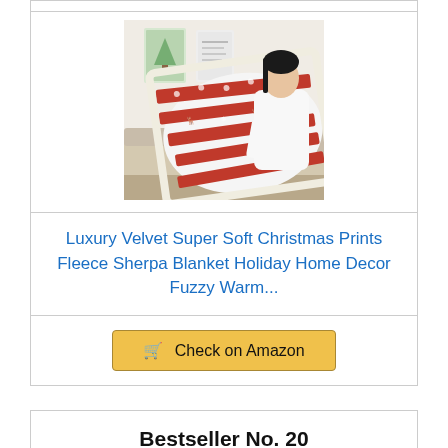[Figure (photo): Woman holding a red and white Christmas pattern fleece sherpa blanket with reindeer and snowflake prints, sitting on a couch]
Luxury Velvet Super Soft Christmas Prints Fleece Sherpa Blanket Holiday Home Decor Fuzzy Warm...
Check on Amazon
Bestseller No. 20